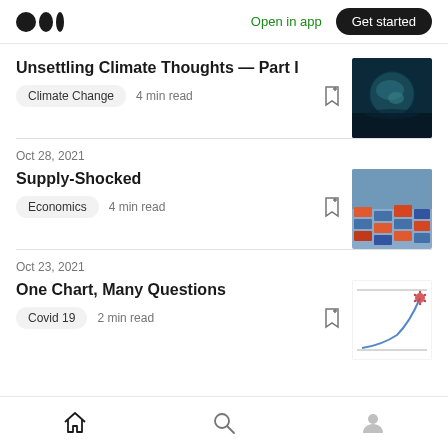Medium logo | Open in app | Get started
Unsettling Climate Thoughts — Part I
Climate Change   4 min read
Oct 28, 2021
Supply-Shocked
Economics   4 min read
Oct 23, 2021
One Chart, Many Questions
Covid 19   2 min read
Home | Search | Profile